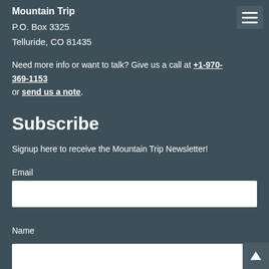Mountain Trip
P.O. Box 3325
Telluride, CO 81435
Need more info or want to talk? Give us a call at +1-970-369-1153 or send us a note.
Subscribe
Signup here to receive the Mountain Trip Newsletter!
Email
Name